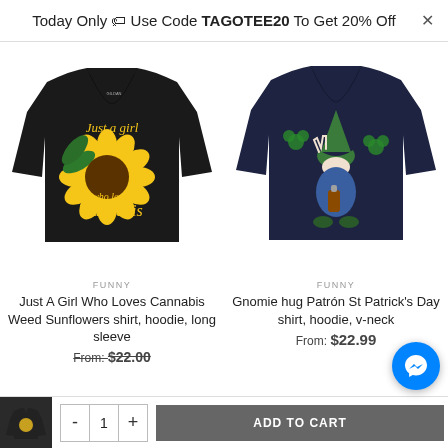Today Only 🏷 Use Code TAGOTEE20 To Get 20% Off
[Figure (photo): Black v-neck t-shirt with sunflower and cannabis leaf graphic, text 'Just a girl who loves Cannabis']
FUNNY
Just A Girl Who Loves Cannabis Weed Sunflowers shirt, hoodie, long sleeve
From: $22.00
[Figure (photo): Dark navy v-neck t-shirt with gnome holding a Patron bottle and St Patrick's Day shamrocks graphic]
FUNNY
Gnomie hug Patrón St Patrick's Day shirt, hoodie, v-neck
From: $22.99
[Figure (photo): Small thumbnail of a dark hoodie with design]
- 1 + ADD TO CART